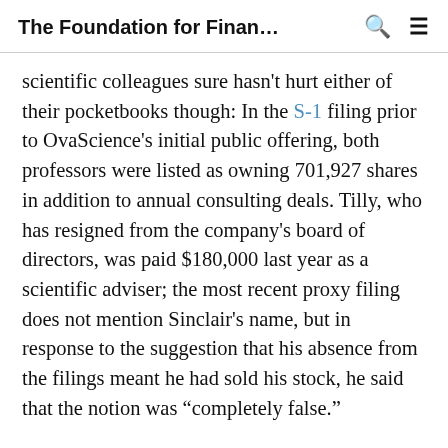The Foundation for Finan…
scientific colleagues sure hasn't hurt either of their pocketbooks though: In the S-1 filing prior to OvaScience's initial public offering, both professors were listed as owning 701,927 shares in addition to annual consulting deals. Tilly, who has resigned from the company's board of directors, was paid $180,000 last year as a scientific adviser; the most recent proxy filing does not mention Sinclair's name, but in response to the suggestion that his absence from the filings meant he had sold his stock, he said that the notion was “completely false.”
As detailed in Sirtris’ filings, Sinclair had a $150,000 per year consulting contract, was a board member and